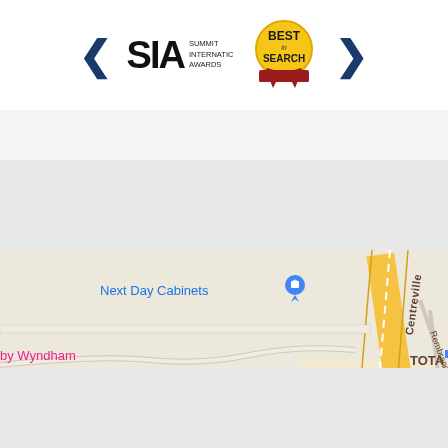[Figure (logo): SIA Summit International Awards logo with left and right navigation arrows]
[Figure (logo): Best in Search award badge/ribbon in gold and red]
[Figure (map): Google Maps screenshot showing area near Dulles Airport with labels: Next Day Cabinets, by Wyndham Dulles Airport, Lotte Plaza Market, Centreville road, Rembrandt Way, Lightfoot St, TOTA partial text. Hotel pin marker visible.]